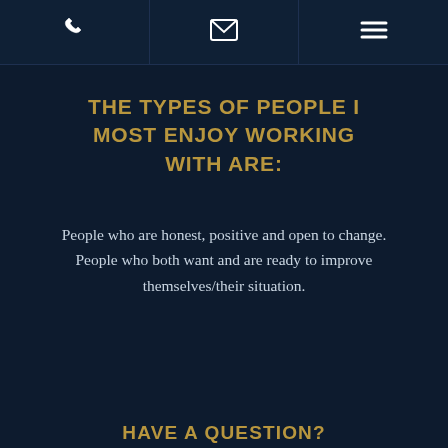[phone icon] [email icon] [menu icon]
THE TYPES OF PEOPLE I MOST ENJOY WORKING WITH ARE:
People who are honest, positive and open to change. People who both want and are ready to improve themselves/their situation.
HAVE A QUESTION?